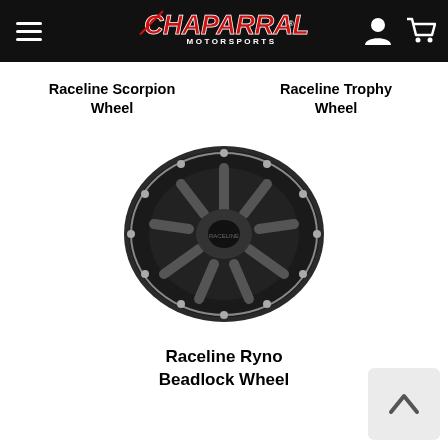Chaparral Motorsports
Raceline Scorpion Wheel
Raceline Trophy Wheel
[Figure (photo): Black Raceline Ryno Beadlock Wheel with bolt ring detail, viewed at slight angle]
Raceline Ryno Beadlock Wheel